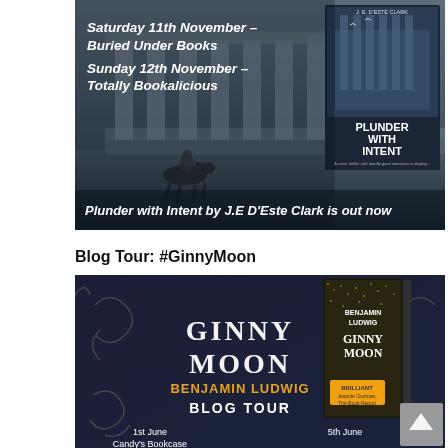[Figure (photo): Book promotional banner for 'Plunder with Intent' by J.E D'Este Clark showing ancient Greek ruins (Parthenon) in dark atmospheric tones with horseback rider, book cover overlay, and text: 'Saturday 11th November – Buried Under Books', 'Sunday 12th November – Totally Bookalicious', 'Plunder with Intent by J.E D'Este Clark is out now']
Blog Tour: #GinnyMoon
[Figure (photo): Blog tour banner for 'Ginny Moon' by Benjamin Ludwig on black chalkboard-style background with decorative swirls, showing book cover on right side, text: 'GINNY MOON', 'BENJAMIN LUDWIG', 'BLOG TOUR', '1st June Candy's Bookcase', '5th June']